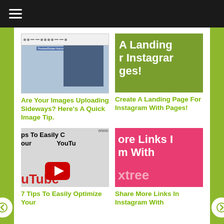☰
[Figure (screenshot): Screenshot of image editing software toolbar with a blue/dark image displayed]
[Figure (screenshot): Green/olive background image with large white bold text: 'A Landing Page For Instagram With Pages!']
Are Your Images Uploading Sideways? Here's A Quick Image Tip.
Create A Landing Page For Instagram With Pages!
[Figure (screenshot): YouTube-style thumbnail with text 'Tips To Easily Optimize Your YouTube' and YouTube play button logo]
[Figure (screenshot): Pink/magenta background with large white bold text: 'More Links In Instagram With Linktree']
7 Tips To Easily Optimize Your
Share More Links In Instagram With